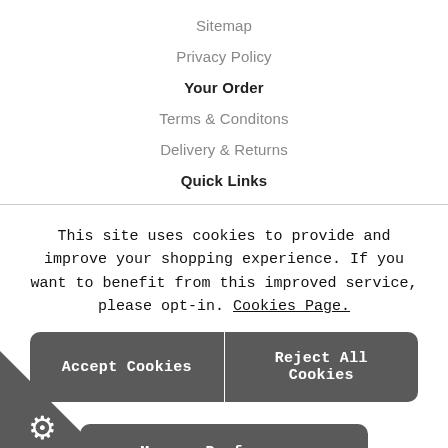Sitemap
Privacy Policy
Your Order
Terms & Conditons
Delivery & Returns
Quick Links
This site uses cookies to provide and improve your shopping experience. If you want to benefit from this improved service, please opt-in. Cookies Page.
Accept Cookies
Reject All Cookies
Manage Preferences